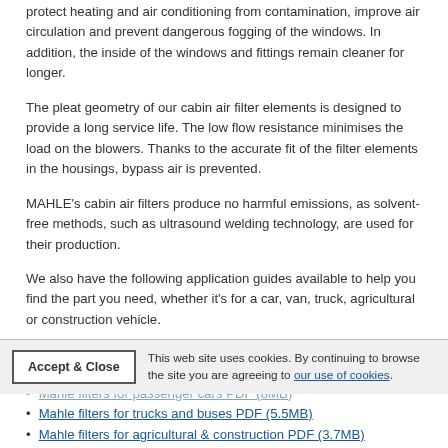protect heating and air conditioning from contamination, improve air circulation and prevent dangerous fogging of the windows. In addition, the inside of the windows and fittings remain cleaner for longer.
The pleat geometry of our cabin air filter elements is designed to provide a long service life. The low flow resistance minimises the load on the blowers. Thanks to the accurate fit of the filter elements in the housings, bypass air is prevented.
MAHLE's cabin air filters produce no harmful emissions, as solvent-free methods, such as ultrasound welding technology, are used for their production.
We also have the following application guides available to help you find the part you need, whether it's for a car, van, truck, agricultural or construction vehicle.
This web site uses cookies. By continuing to browse the site you are agreeing to our use of cookies.
Mahle filters for passenger cars PDF (8MB)
Mahle filters for trucks and buses PDF (5.5MB)
Mahle filters for agricultural & construction PDF (3.7MB)